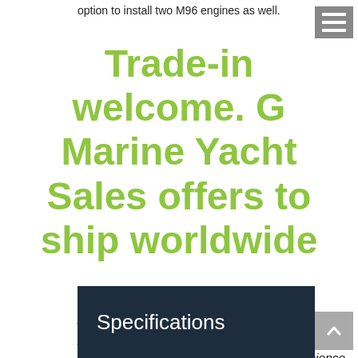option to install two M96 engines as well.
Trade-in welcome. G Marine Yacht Sales offers to ship worldwide
Ak Yachts is pleased to assist you in the purchase of this vessel. This boat is centrally listed by G Marine. It is offered as a convenience by this broker/dealer to its clients and is not intended to convey direct representation of a particular vessel
Specifications